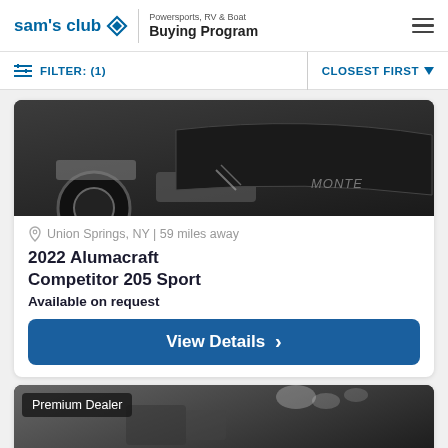sam's club | Powersports, RV & Boat Buying Program
FILTER: (1)   CLOSEST FIRST
[Figure (photo): Partial photo of a dark boat (Monterey) on a trailer, showing wheel and hull in a warehouse setting.]
Union Springs, NY | 59 miles away
2022 Alumacraft Competitor 205 Sport
Available on request
View Details
[Figure (photo): Partial photo of a boat interior in a showroom with overhead lighting, with a 'Premium Dealer' badge overlay.]